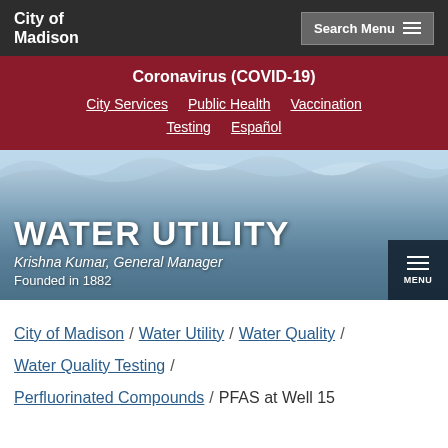City of Madison
Coronavirus (COVID-19)
City Services
Public Health
Vaccination
Testing
Español
[Figure (photo): Water utility hero image showing water surface and sky background]
WATER UTILITY
Krishna Kumar, General Manager
Founded in 1882
City of Madison / Water Utility / Water Quality / Water Quality Testing / Perfluorinated Compounds / PFAS at Well 15